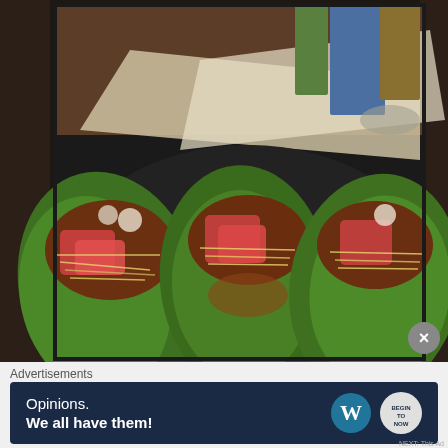[Figure (photo): Photo of lettuce wrap tacos filled with seasoned ground meat, diced tomatoes, shredded cheese, and diced onions arranged in a dark bowl on a desk with papers and books in the background]
Advertisements
[Figure (infographic): Advertisement banner with dark navy background showing WordPress branding. Text reads 'Opinions. We all have them!' with WordPress logo (W in circle) and a second circular logo on the right.]